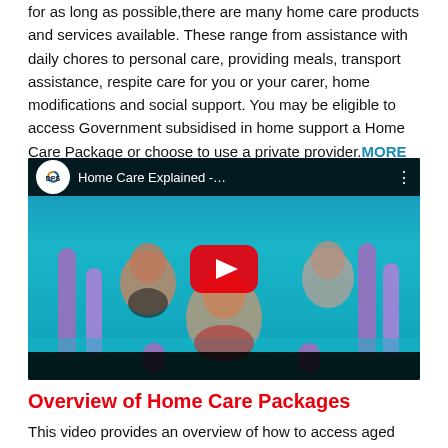for as long as possible,there are many home care products and services available. These range from assistance with daily chores to personal care, providing meals, transport assistance, respite care for you or your carer, home modifications and social support. You may be eligible to access Government subsidised in home support a Home Care Package or choose to use a private provider. MORE INFORMATION
[Figure (screenshot): YouTube video thumbnail for 'Home Care Explained -...' by DPS. Shows elderly women doing water aerobics in a pool with purple foam noodles. Red YouTube play button overlaid in center. DPS logo and video title in top bar.]
Overview of Home Care Packages
This video provides an overview of how to access aged care services under a Home Care Package. The video guides you